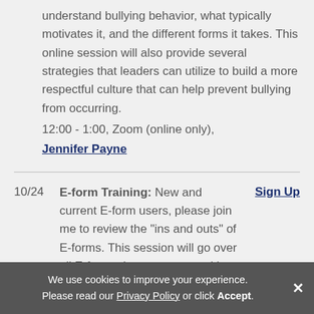understand bullying behavior, what typically motivates it, and the different forms it takes. This online session will also provide several strategies that leaders can utilize to build a more respectful culture that can help prevent bullying from occurring.
12:00 - 1:00, Zoom (online only),
Jennifer Payne
10/24  E-form Training: New and current E-form users, please join me to review the "ins and outs" of E-forms. This session will go over all E-forms that are managed by the Human Resources team and will serve as a great source of information for new and current E-form users/approvers. Please come...
Sign Up
We use cookies to improve your experience. Please read our Privacy Policy or click Accept.